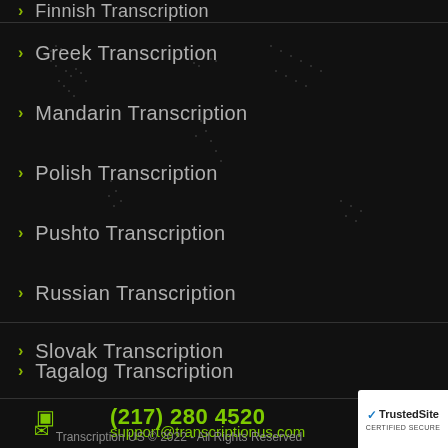Finnish Transcription
Greek Transcription
Mandarin Transcription
Polish Transcription
Pushto Transcription
Russian Transcription
Slovak Transcription
Tagalog Transcription
(217) 280 4520
support@transcriptionus.com
Transcription US © 2022 - All Rights Reserved